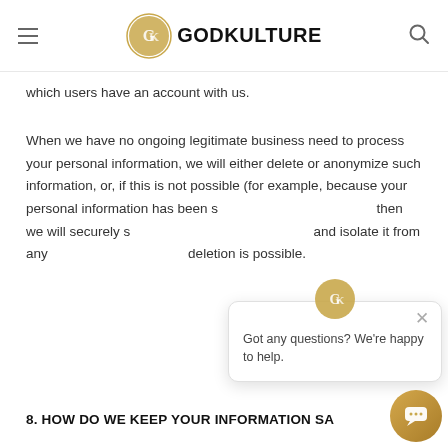GODKULTURE
which users have an account with us.
When we have no ongoing legitimate business need to process your personal information, we will either delete or anonymize such information, or, if this is not possible (for example, because your personal information has been stored in backup archives), then we will securely store your personal information and isolate it from any further processing until deletion is possible.
8. HOW DO WE KEEP YOUR INFORMATION SA